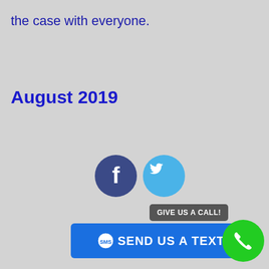the case with everyone.
August 2019
[Figure (illustration): Facebook and Twitter social media share buttons as circular icons]
[Figure (illustration): Blue button with SMS icon reading SEND US A TEXT, a tooltip saying GIVE US A CALL!, and a green call button with phone icon]